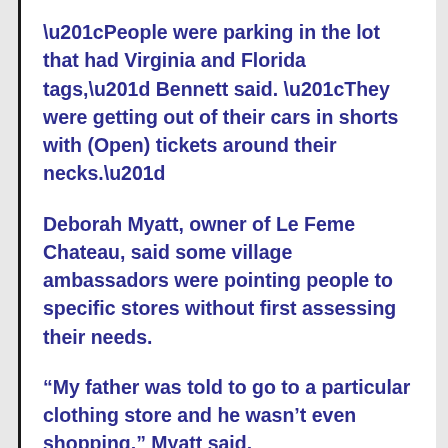“People were parking in the lot that had Virginia and Florida tags,” Bennett said. “They were getting out of their cars in shorts with (Open) tickets around their necks.”
Deborah Myatt, owner of Le Feme Chateau, said some village ambassadors were pointing people to specific stores without first assessing their needs.
“My father was told to go to a particular clothing store and he wasn’t even shopping,” Myatt said.